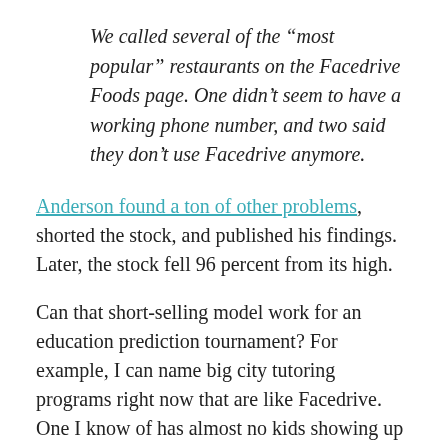We called several of the “most popular” restaurants on the Facedrive Foods page. One didn’t seem to have a working phone number, and two said they don’t use Facedrive anymore.
Anderson found a ton of other problems, shorted the stock, and published his findings. Later, the stock fell 96 percent from its high.
Can that short-selling model work for an education prediction tournament? For example, I can name big city tutoring programs right now that are like Facedrive. One I know of has almost no kids showing up for tutoring after school. Another is so short of tutors that their tutor “group sizes” are huge